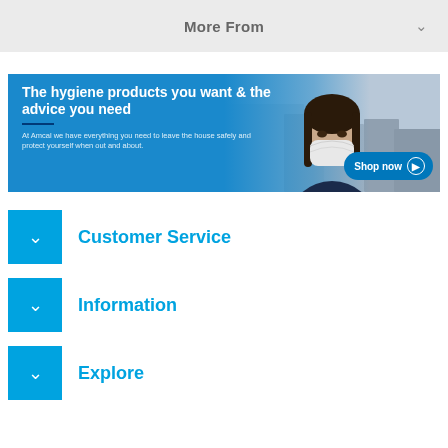More From
[Figure (photo): Promotional banner for hygiene products featuring a woman wearing a face mask. Blue background with text: 'The hygiene products you want & the advice you need'. Subtext: 'At Amcal we have everything you need to leave the house safely and protect yourself when out and about.' Shop now button on the right.]
Customer Service
Information
Explore